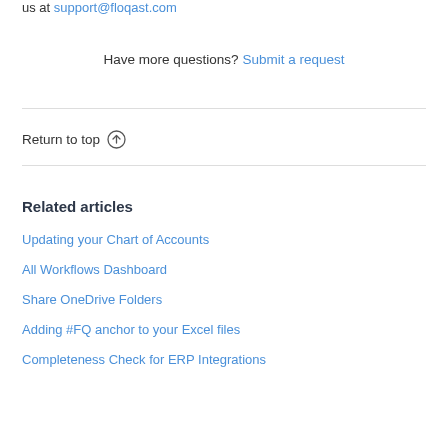us at support@floqast.com
Have more questions? Submit a request
Return to top ↑
Related articles
Updating your Chart of Accounts
All Workflows Dashboard
Share OneDrive Folders
Adding #FQ anchor to your Excel files
Completeness Check for ERP Integrations